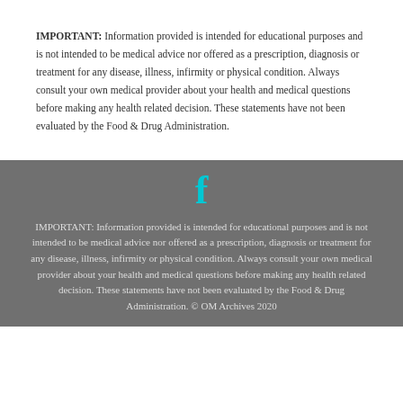IMPORTANT: Information provided is intended for educational purposes and is not intended to be medical advice nor offered as a prescription, diagnosis or treatment for any disease, illness, infirmity or physical condition. Always consult your own medical provider about your health and medical questions before making any health related decision. These statements have not been evaluated by the Food & Drug Administration.
[Figure (logo): Facebook 'f' icon in cyan/teal color]
IMPORTANT: Information provided is intended for educational purposes and is not intended to be medical advice nor offered as a prescription, diagnosis or treatment for any disease, illness, infirmity or physical condition. Always consult your own medical provider about your health and medical questions before making any health related decision. These statements have not been evaluated by the Food & Drug Administration. © OM Archives 2020